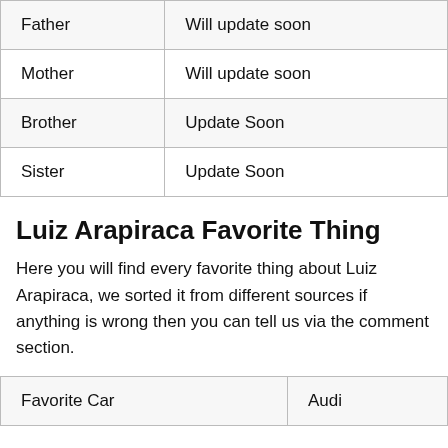| Father | Will update soon |
| Mother | Will update soon |
| Brother | Update Soon |
| Sister | Update Soon |
Luiz Arapiraca Favorite Thing
Here you will find every favorite thing about Luiz Arapiraca, we sorted it from different sources if anything is wrong then you can tell us via the comment section.
| Favorite Car | Audi |